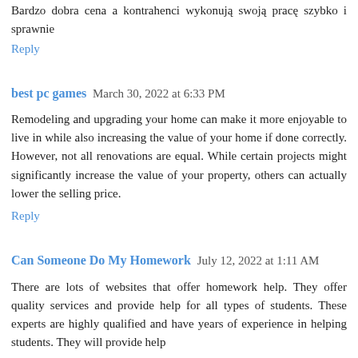Bardzo dobra cena a kontrahenci wykonują swoją pracę szybko i sprawnie
Reply
best pc games  March 30, 2022 at 6:33 PM
Remodeling and upgrading your home can make it more enjoyable to live in while also increasing the value of your home if done correctly. However, not all renovations are equal. While certain projects might significantly increase the value of your property, others can actually lower the selling price.
Reply
Can Someone Do My Homework  July 12, 2022 at 1:11 AM
There are lots of websites that offer homework help. They offer quality services and provide help for all types of students. These experts are highly qualified and have years of experience in helping students. They will provide help